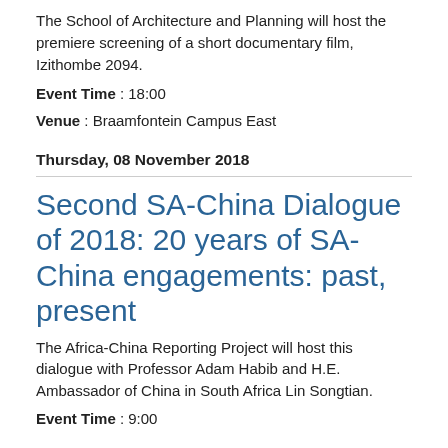The School of Architecture and Planning will host the premiere screening of a short documentary film, Izithombe 2094.
Event Time : 18:00
Venue : Braamfontein Campus East
Thursday, 08 November 2018
Second SA-China Dialogue of 2018: 20 years of SA-China engagements: past, present
The Africa-China Reporting Project will host this dialogue with Professor Adam Habib and H.E. Ambassador of China in South Africa Lin Songtian.
Event Time : 9:00